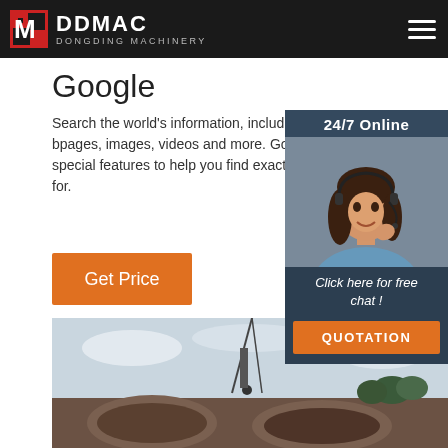DDMAC DONGDING MACHINERY
Google
Search the world's information, including webpages, images, videos and more. Google has many special features to help you find exactly what you're looking for.
Get Price
[Figure (photo): Customer service representative with headset, smiling. Side panel with 24/7 Online header.]
Click here for free chat !
QUOTATION
[Figure (photo): Industrial crane lifting large cylindrical pipe sections at a construction site.]